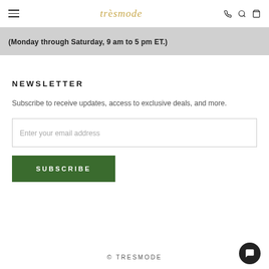trèsmode
(Monday through Saturday, 9 am to 5 pm ET.)
NEWSLETTER
Subscribe to receive updates, access to exclusive deals, and more.
Enter your email address
SUBSCRIBE
© TRESMODE